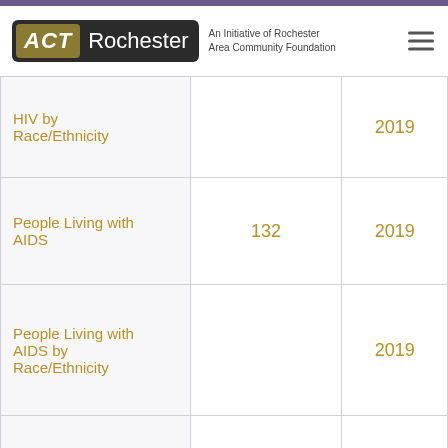ACT Rochester — An Initiative of Rochester Area Community Foundation
|  |  |  |
| --- | --- | --- |
| HIV by Race/Ethnicity |  | 2019 |
| People Living with AIDS | 132 | 2019 |
| People Living with AIDS by Race/Ethnicity |  | 2019 |
| Percent of Days with Good Air Quality |  |  |
|  |  |  |